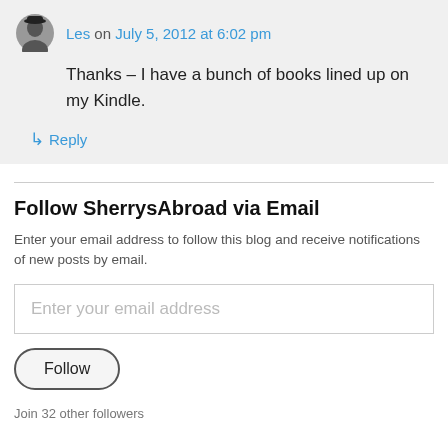Les on July 5, 2012 at 6:02 pm
Thanks – I have a bunch of books lined up on my Kindle.
↳ Reply
Follow SherrysAbroad via Email
Enter your email address to follow this blog and receive notifications of new posts by email.
Enter your email address
Follow
Join 32 other followers